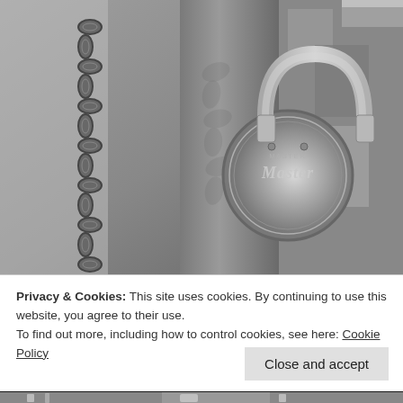[Figure (photo): Black and white close-up photograph of a Master brand padlock attached to a chain hanging on a metal post or door. The circular lock body shows the word 'Master' embossed on it. The lock shackle is inserted through a chain link. Shadows of the chain fall across the surface.]
Privacy & Cookies: This site uses cookies. By continuing to use this website, you agree to their use.
To find out more, including how to control cookies, see here: Cookie Policy
Close and accept
[Figure (photo): Partial view of another black and white photograph at the bottom of the page, appears to show locks or chains.]